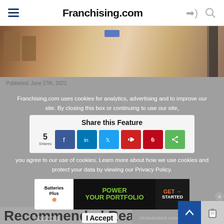Franchising.com
[Figure (photo): Photo of a woman in a white top gesturing with hands, shelves with packages in background]
Published: June 27th, 2022
Franchising.com uses cookies for analytics, advertising and to improve our site. By closing this box or continuing to use our site, you agree to our use of cookies. Learn more about how we use cookies and protect your data by viewing our Privacy Policy.
Share this Feature
5 Shares
[Figure (screenshot): Advertisement banner for Batteries Plus: POWER YOUR PORTFOLIO - GET STARTED]
ADVERTISE
I Accept
SPONSORED CONTENT
Recommended Reading...